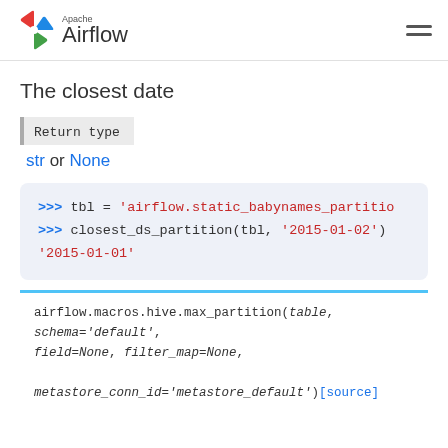Apache Airflow
The closest date
Return type
str or None
>>> tbl = 'airflow.static_babynames_partitio
>>> closest_ds_partition(tbl, '2015-01-02')
'2015-01-01'
airflow.macros.hive.max_partition(table, schema='default', field=None, filter_map=None, metastore_conn_id='metastore_default')[source]